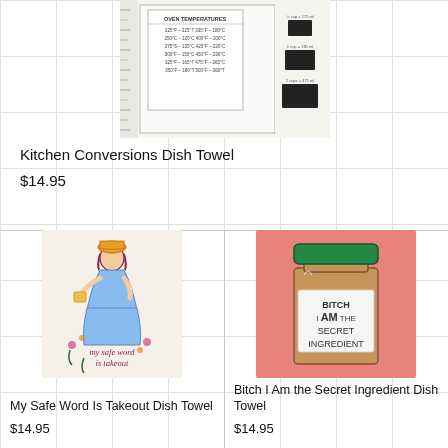[Figure (photo): Kitchen Conversions Dish Towel product image showing oven temperature and measurement conversion chart]
Kitchen Conversions Dish Towel
$14.95
[Figure (photo): My Safe Word Is Takeout Dish Towel with illustrated woman and text 'my safe word is takeout']
My Safe Word Is Takeout Dish Towel
$14.95
[Figure (photo): Bitch I Am the Secret Ingredient Dish Towel with pink background and jar illustration]
Bitch I Am the Secret Ingredient Dish Towel
$14.95